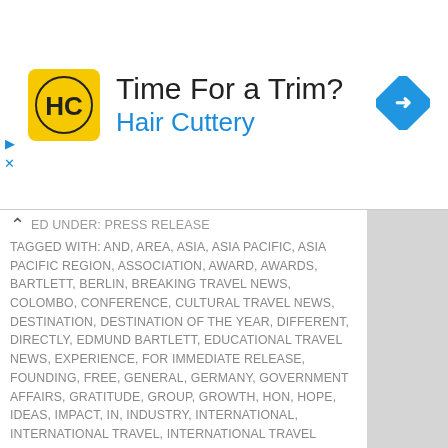[Figure (infographic): Advertisement banner for Hair Cuttery: yellow square logo with 'HC' text, headline 'Time For a Trim?', subheadline 'Hair Cuttery' in blue, blue diamond arrow icon on right, ad controls (play/close) on left]
FILED UNDER: PRESS RELEASE
TAGGED WITH: AND, AREA, ASIA, ASIA PACIFIC, ASIA PACIFIC REGION, ASSOCIATION, AWARD, AWARDS, BARTLETT, BERLIN, BREAKING TRAVEL NEWS, COLOMBO, CONFERENCE, CULTURAL TRAVEL NEWS, DESTINATION, DESTINATION OF THE YEAR, DIFFERENT, DIRECTLY, EDMUND BARTLETT, EDUCATIONAL TRAVEL NEWS, EXPERIENCE, FOR IMMEDIATE RELEASE, FOUNDING, FREE, GENERAL, GERMANY, GOVERNMENT AFFAIRS, GRATITUDE, GROUP, GROWTH, HON, HOPE, IDEAS, IMPACT, IN, INDUSTRY, INTERNATIONAL, INTERNATIONAL TRAVEL, INTERNATIONAL TRAVEL NEWS, INTERNATIONALLY, INVITATION, IT, JAMAICA, JAMAICA MINISTRY, JAMAICA TRAVEL NEWS, LANKA, LAST, MINISTER, MINISTER BARTLETT, MINISTER BARTLETT SAID, MINISTERS, MINISTRY, NAMED, NEWS ARTICLES, OFFER, ORGANIZATION, PACIFIC, PACIFIC AREA TRAVEL WRITERS ASSOCIATION, PATA, PATWA, PATWA ADVISOR, PATWA ORGANIZATION, PEOPLE IN TRAVEL, PHILOSOPHY, POSITIVE, PRESENTATION, PRESTIGIOUS